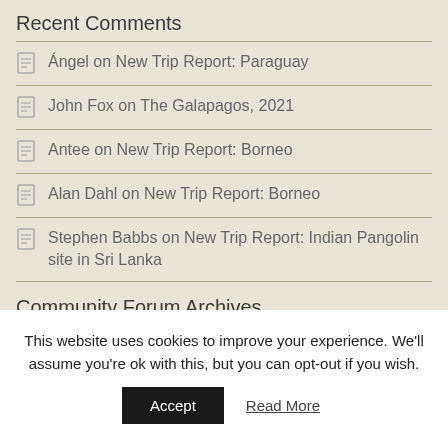Recent Comments
Ángel on New Trip Report: Paraguay
John Fox on The Galapagos, 2021
Antee on New Trip Report: Borneo
Alan Dahl on New Trip Report: Borneo
Stephen Babbs on New Trip Report: Indian Pangolin site in Sri Lanka
Community Forum Archives
Select Month
This website uses cookies to improve your experience. We'll assume you're ok with this, but you can opt-out if you wish.
Accept
Read More